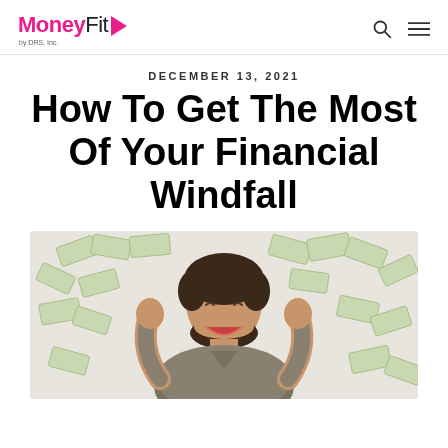MoneyFit by DRS, Inc.
DECEMBER 13, 2021
How To Get The Most Of Your Financial Windfall
[Figure (photo): A smiling man looking up with raised fists, surrounded by falling dollar bills, against a light background.]